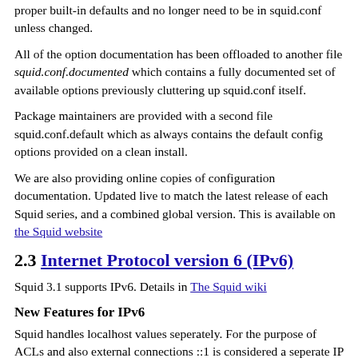proper built-in defaults and no longer need to be in squid.conf unless changed.
All of the option documentation has been offloaded to another file squid.conf.documented which contains a fully documented set of available options previously cluttering up squid.conf itself.
Package maintainers are provided with a second file squid.conf.default which as always contains the default config options provided on a clean install.
We are also providing online copies of configuration documentation. Updated live to match the latest release of each Squid series, and a combined global version. This is available on the Squid website
2.3 Internet Protocol version 6 (IPv6)
Squid 3.1 supports IPv6. Details in The Squid wiki
New Features for IPv6
Squid handles localhost values seperately. For the purpose of ACLs and also external connections ::1 is considered a seperate IP from 127.0.0.1. This means all ACL which define behaviour for